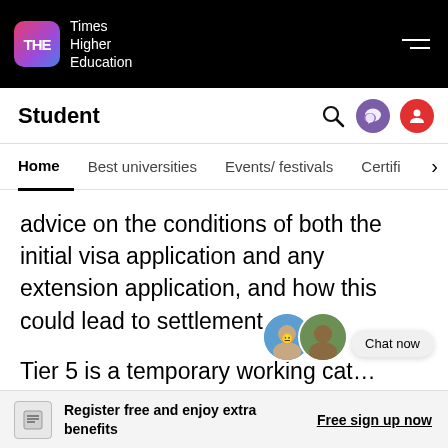THE Times Higher Education
Student
Home | Best universities | Events/ festivals | Certifi…
advice on the conditions of both the initial visa application and any extension application, and how this could lead to settlement.
Tier 5 is a temporary working cat… generally requires a student to return to their home country before applying via… e. While Tier 5 is limited in both length and the
Register free and enjoy extra benefits
Free sign up now